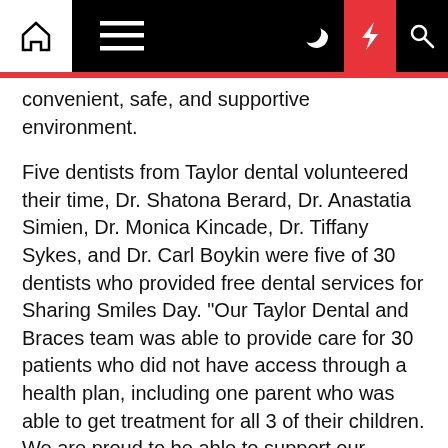[Navigation bar with home, menu, moon, lightning, and search icons]
convenient, safe, and supportive environment.
Five dentists from Taylor dental volunteered their time, Dr. Shatona Berard, Dr. Anastatia Simien, Dr. Monica Kincade, Dr. Tiffany Sykes, and Dr. Carl Boykin were five of 30 dentists who provided free dental services for Sharing Smiles Day. "Our Taylor Dental and Braces team was able to provide care for 30 patients who did not have access through a health plan, including one parent who was able to get treatment for all 3 of their children. We are proud to be able to support our community this way." shared Dr. Boykin.
This year 294 team members from Taylor Dental and 22 other Benevis partner dental offices participated in Sharing Smiles Day. Since the program began, Sharing Smiles Day has provided